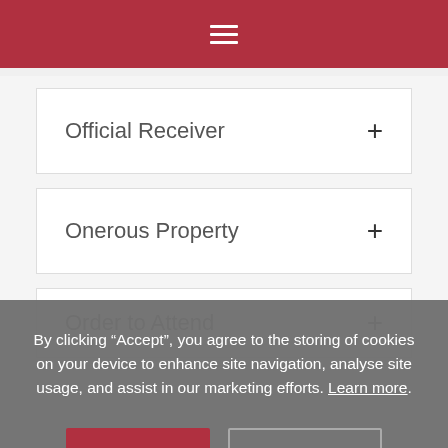[Figure (screenshot): Red navigation bar with white hamburger menu icon]
Official Receiver +
Onerous Property +
Order to Attend +
By clicking “Accept”, you agree to the storing of cookies on your device to enhance site navigation, analyse site usage, and assist in our marketing efforts. Learn more.
Accept | Manage